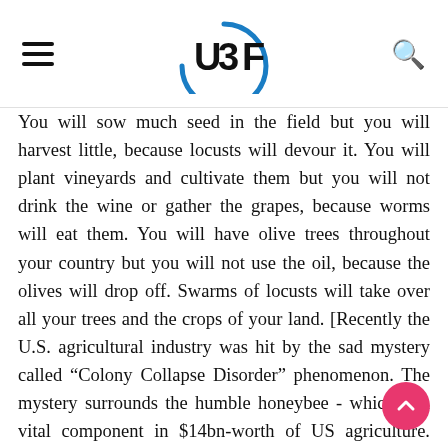UBF logo with hamburger menu and search icon
You will sow much seed in the field but you will harvest little, because locusts will devour it. You will plant vineyards and cultivate them but you will not drink the wine or gather the grapes, because worms will eat them. You will have olive trees throughout your country but you will not use the oil, because the olives will drop off. Swarms of locusts will take over all your trees and the crops of your land. [Recently the U.S. agricultural industry was hit by the sad mystery called “Colony Collapse Disorder” phenomenon. The mystery surrounds the humble honeybee - which is a vital component in $14bn-worth of US agriculture. Honey bees are tasked with pollination of one third of all U.S. crops. Yet billions of them disappeared from farm land and died off of a disease caused by a virus, which come with a completely new set of symptoms. Some farmers are getting desperate, to the point of not bothering to plant their crops. The problem is so serious yet no one knows the solution to the problem, that Denis van Engelsdrop a Pennsylvania based beekeeper and a leading researcher said,” “I couldn’t fix things, you deal with it, it’s not going